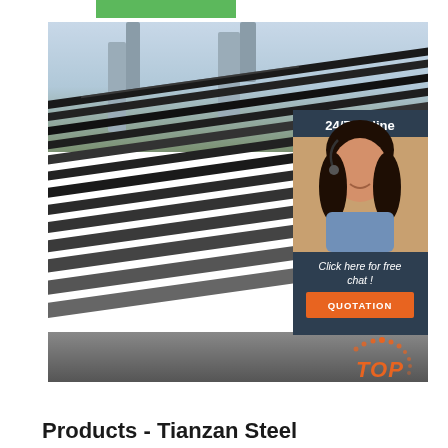[Figure (photo): Green navigation bar at top of webpage]
[Figure (photo): Stack of dark steel/metal plates outdoors with bridge pillars and sky in background, with a 24/7 Online chat widget overlay on the right side showing a customer service representative, and a TOP logo watermark in the bottom right]
Products - Tianzan Steel